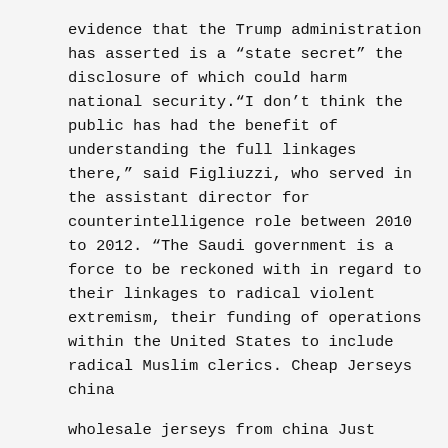evidence that the Trump administration has asserted is a “state secret” the disclosure of which could harm national security.“I don’t think the public has had the benefit of understanding the full linkages there,” said Figliuzzi, who served in the assistant director for counterintelligence role between 2010 to 2012. “The Saudi government is a force to be reckoned with in regard to their linkages to radical violent extremism, their funding of operations within the United States to include radical Muslim clerics. Cheap Jerseys china
wholesale jerseys from china Just